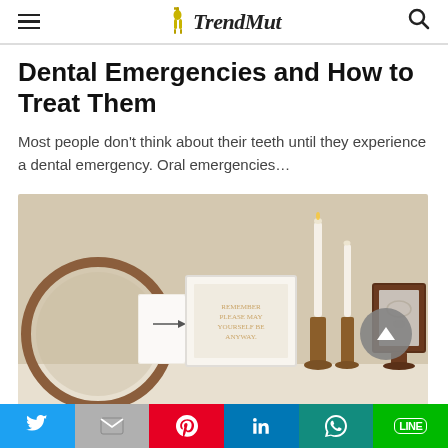TrendMut
Dental Emergencies and How to Treat Them
Most people don't think about their teeth until they experience a dental emergency. Oral emergencies…
[Figure (photo): Interior shelf scene with a framed art print, two tall candles on copper candlesticks, a small wooden framed photo, and a circular mirror — warm neutral tones.]
Twitter | Gmail | Pinterest | LinkedIn | WhatsApp | LINE